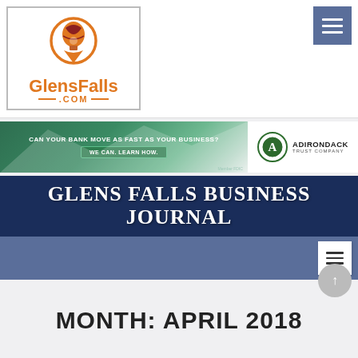[Figure (logo): GlensFalls.com logo with orange hot air balloon pin icon inside a bordered box]
[Figure (logo): Hamburger menu button (three white lines on steel-blue background) in top right corner]
[Figure (infographic): Adirondack Trust Company advertisement banner: 'CAN YOUR BANK MOVE AS FAST AS YOUR BUSINESS? WE CAN. LEARN HOW.' with green background on left and Adirondack Trust Company logo on right]
[Figure (logo): Glens Falls Business Journal banner with dark navy background displaying journal name in serif white text, followed by steel-blue navigation bar with hamburger menu]
MONTH: APRIL 2018